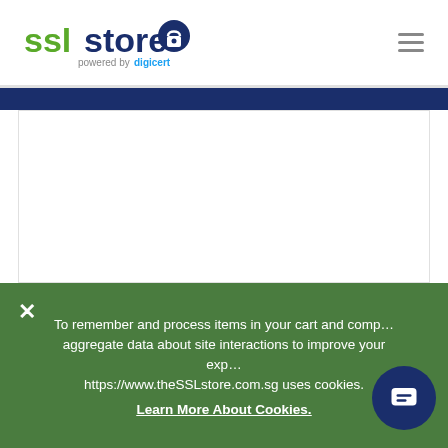[Figure (logo): SSLStore logo powered by DigiCert - green and dark blue text with padlock icon]
[Figure (infographic): Hamburger menu icon (three horizontal lines) in top right corner]
[Figure (infographic): Dark navy blue horizontal band below header]
[Figure (infographic): White main content area with social sharing icons (Facebook, Twitter, LinkedIn) and 5-star rating widget showing The SSL Store]
To remember and process items in your cart and compile aggregate data about site interactions to improve your experience https://www.theSSLstore.com.sg uses cookies.
Learn More About Cookies.